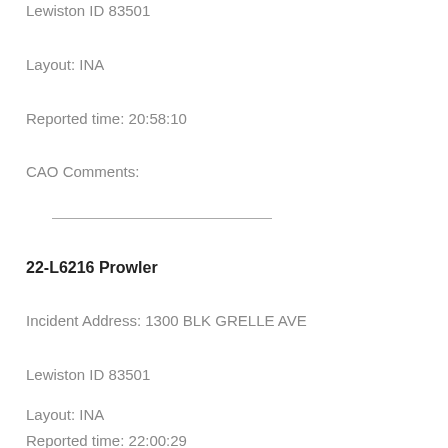Lewiston ID 83501
Layout: INA
Reported time: 20:58:10
CAO Comments:
___________________________
22-L6216 Prowler
Incident Address: 1300 BLK GRELLE AVE
Lewiston ID 83501
Layout: INA
Reported time: 22:00:29